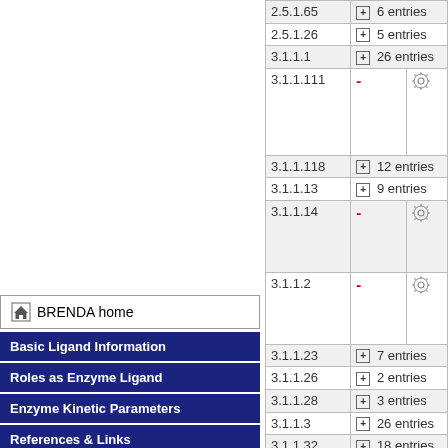BRENDA home
Basic Ligand Information
Roles as Enzyme Ligand
Enzyme Kinetic Parameters
References & Links
| EC number | Entries |  |
| --- | --- | --- |
| 2.5.1.65 | + 6 entries |  |
| 2.5.1.26 | + 5 entries |  |
| 3.1.1.1 | + 26 entries |  |
| 3.1.1.111 | - | (gear) |
| 3.1.1.118 | + 12 entries |  |
| 3.1.1.13 | + 9 entries |  |
| 3.1.1.14 | - | (gear) |
| 3.1.1.2 | - | (gear) |
| 3.1.1.23 | + 7 entries |  |
| 3.1.1.26 | + 2 entries |  |
| 3.1.1.28 | + 3 entries |  |
| 3.1.1.3 | + 26 entries |  |
| 3.1.1.32 | + 18 entries |  |
| 3.1.1.4 | + 29 entries |  |
| 3.1.1.5 | + 29 entries |  |